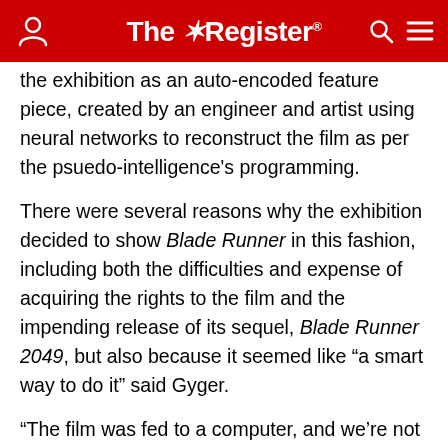The Register
the exhibition as an auto-encoded feature piece, created by an engineer and artist using neural networks to reconstruct the film as per the psuedo-intelligence's programming.
There were several reasons why the exhibition decided to show Blade Runner in this fashion, including both the difficulties and expense of acquiring the rights to the film and the impending release of its sequel, Blade Runner 2049, but also because it seemed like “a smart way to do it” said Gyger.
“The film was fed to a computer, and we’re not showing the film, we’re showing what the computer was told to watch in the film, so it’s like the dream of the film the...